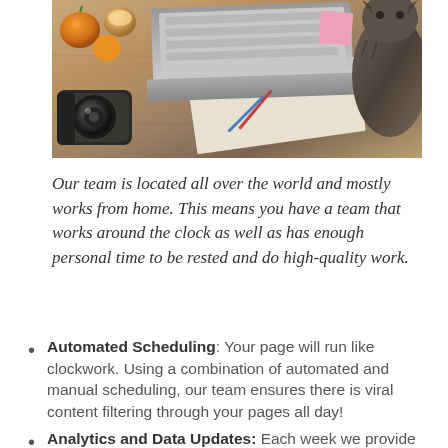[Figure (photo): Overhead/top-down view of a wooden desk with a laptop, camera, orange fruit, coffee cup, and a cat at the right side]
Our team is located all over the world and mostly works from home. This means you have a team that works around the clock as well as has enough personal time to be rested and do high-quality work.
Automated Scheduling: Your page will run like clockwork. Using a combination of automated and manual scheduling, our team ensures there is viral content filtering through your pages all day!
Analytics and Data Updates: Each week we provide...